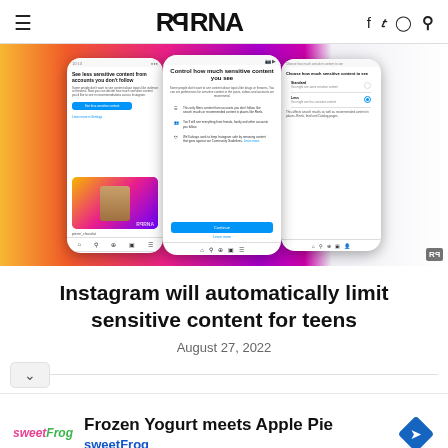RPRNA — navigation header with hamburger menu, logo, social icons (Facebook, Twitter, Instagram) and search
[Figure (screenshot): Instagram app screenshots showing sensitive content controls on mobile phones, displayed against a colorful gradient background. Three phone mockups show: (1) 'See less sensitive content from accounts you don't follow', (2) 'Control how much sensitive content you see', (3) 'Choose how much sensitive content to see' with Standard and Less options.]
Instagram will automatically limit sensitive content for teens
August 27, 2022
[Figure (infographic): Advertisement banner for sweetFrog frozen yogurt: 'Frozen Yogurt meets Apple Pie' with sweetFrog branding in pink and green, and a blue diamond navigation icon on the right.]